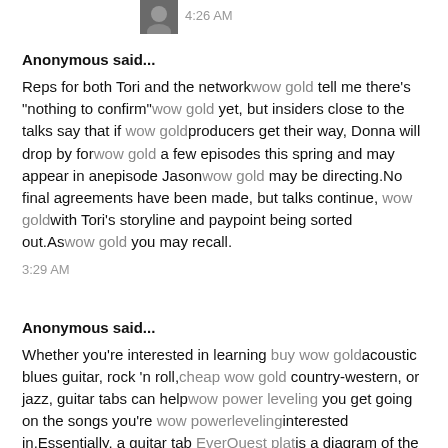4:26 AM
Anonymous said...
Reps for both Tori and the networkwow gold tell me there's "nothing to confirm"wow gold yet, but insiders close to the talks say that if wow goldproducers get their way, Donna will drop by forwow gold a few episodes this spring and may appear in anepisode Jasonwow gold may be directing.No final agreements have been made, but talks continue, wow goldwith Tori's storyline and paypoint being sorted out.Aswow gold you may recall.
3:29 AM
Anonymous said...
Whether you're interested in learning buy wow goldacoustic blues guitar, rock 'n roll,cheap wow gold country-western, or jazz, guitar tabs can helpwow power leveling you get going on the songs you're wow powerlevelinginterested in.Essentially, a guitar tab EverQuest platis a diagram of the fingerboardbuy eq gold ("neck") of the guitar.EverQuest gold The horizontaleq